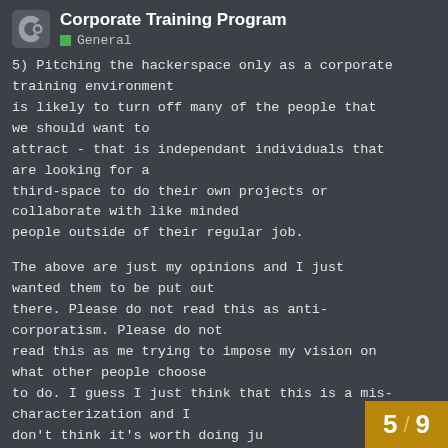Corporate Training Program
General
5) Pitching the hackerspace only as a corporate training environment
is likely to turn off many of the people that we should want to
attract - that is independant individuals that are looking for a
third-space to do their own projects or collaborate with like minded
people outside of their regular job.

The above are just my opinions and I just wanted them to be put out
there. Please do not read this as anti-corporatism. Please do not
read this as me trying to impose my vision on what other people choose
to do. I guess I just think that this is a mis-characterization and I
don't think it's worth doing ju
5 / 9